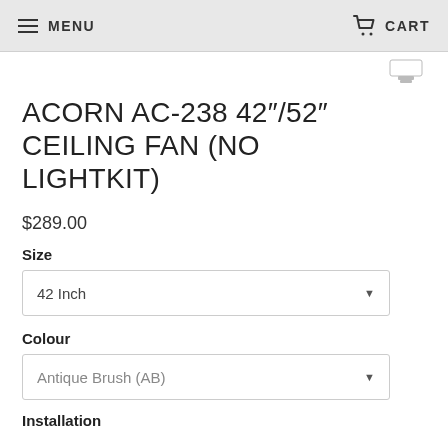MENU   CART
ACORN AC-238 42"/52" CEILING FAN (NO LIGHTKIT)
$289.00
Size
42 Inch
Colour
Antique Brush (AB)
Installation